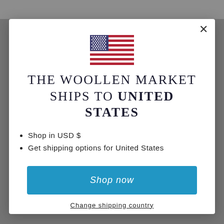[Figure (screenshot): Modal dialog for The Woollen Market shipping destination. Shows a US flag SVG, heading 'THE WOOLLEN MARKET SHIPS TO UNITED STATES', two bullet points, a blue 'Shop now' button, and a 'Change shipping country' link.]
THE WOOLLEN MARKET SHIPS TO UNITED STATES
Shop in USD $
Get shipping options for United States
Shop now
Change shipping country